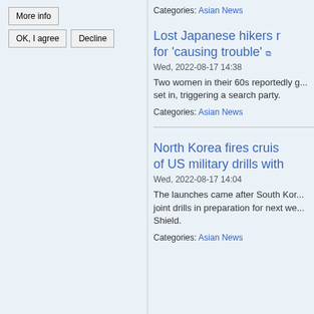More info
OK, I agree | Decline
Categories: Asian News
Lost Japanese hikers r... for 'causing trouble'
Wed, 2022-08-17 14:38
Two women in their 60s reportedly g... set in, triggering a search party.
Categories: Asian News
North Korea fires cruis... of US military drills with...
Wed, 2022-08-17 14:04
The launches came after South Kore... joint drills in preparation for next wee... Shield.
Categories: Asian News